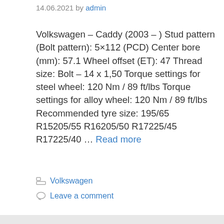14.06.2021 by admin
Volkswagen – Caddy (2003 – ) Stud pattern (Bolt pattern): 5×112 (PCD) Center bore (mm): 57.1 Wheel offset (ET): 47 Thread size: Bolt – 14 x 1,50 Torque settings for steel wheel: 120 Nm / 89 ft/lbs Torque settings for alloy wheel: 120 Nm / 89 ft/lbs Recommended tyre size: 195/65 R15205/55 R16205/50 R17225/45 R17225/40 … Read more
Volkswagen
Leave a comment